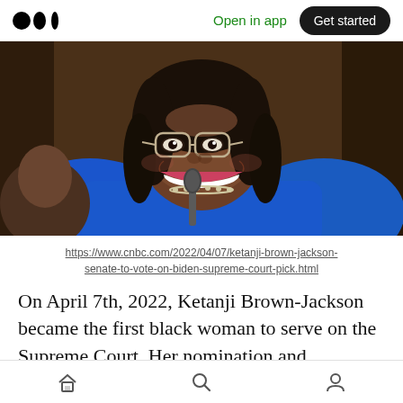Medium logo | Open in app | Get started
[Figure (photo): A woman (Ketanji Brown-Jackson) wearing a blue jacket and glasses, smiling broadly, seated in front of a microphone at a hearing]
https://www.cnbc.com/2022/04/07/ketanji-brown-jackson-senate-to-vote-on-biden-supreme-court-pick.html
On April 7th, 2022, Ketanji Brown-Jackson became the first black woman to serve on the Supreme Court. Her nomination and
Home | Search | Profile